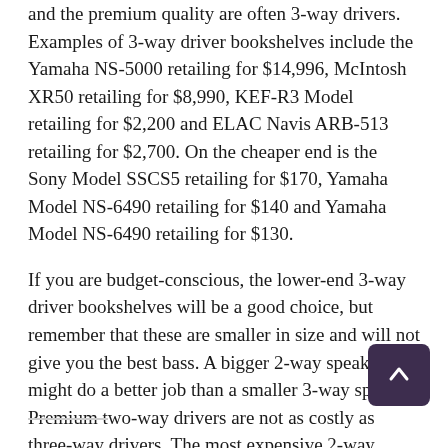and the premium quality are often 3-way drivers. Examples of 3-way driver bookshelves include the Yamaha NS-5000 retailing for $14,996, McIntosh XR50 retailing for $8,990, KEF-R3 Model retailing for $2,200 and ELAC Navis ARB-513 retailing for $2,700. On the cheaper end is the Sony Model SSCS5 retailing for $170, Yamaha Model NS-6490 retailing for $140 and Yamaha Model NS-6490 retailing for $130.
If you are budget-conscious, the lower-end 3-way driver bookshelves will be a good choice, but remember that these are smaller in size and will not give you the best bass. A bigger 2-way speaker might do a better job than a smaller 3-way speaker. Premium two-way drivers are not as costly as three-way drivers. The most expensive 2-way bookshelf is around $1,500, which is way lower than a premium 3-way bookshelf starting at $2,200 and going as high as $15,000. Once again, size will make a big difference as well as the of materials used.